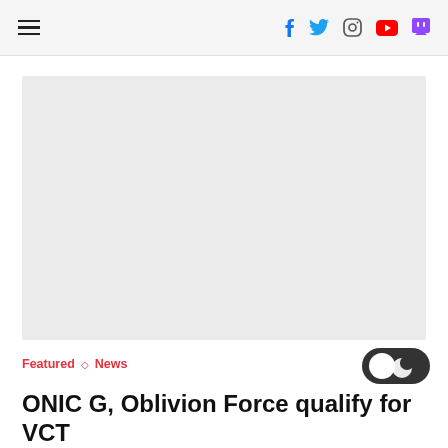Navigation bar with hamburger menu and social icons (Facebook, Twitter, Instagram, YouTube, Twitch)
[Figure (photo): Large image placeholder area with light gray background]
Featured ◇ News
ONIC G, Oblivion Force qualify for VCT